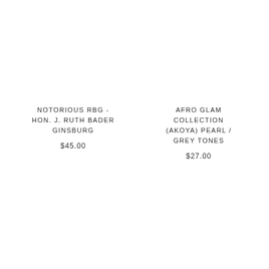NOTORIOUS RBG - HON. J. RUTH BADER GINSBURG
$45.00
AFRO GLAM COLLECTION (AKOYA) PEARL / GREY TONES
$27.00